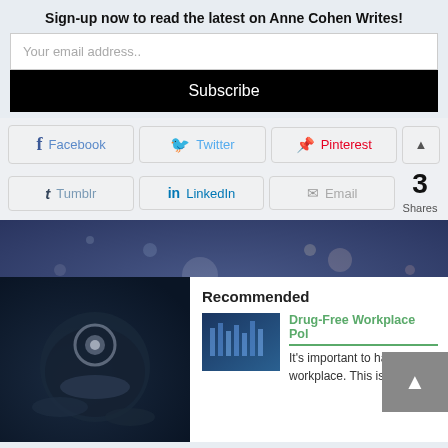Sign-up now to read the latest on Anne Cohen Writes!
Your email address..
Subscribe
Facebook
Twitter
Pinterest
Tumblr
LinkedIn
Email
3 Shares
[Figure (photo): Diamond engagement ring on dark blue velvet display, with bokeh light effects in background]
Recommended
[Figure (photo): Drug-Free Workplace thumbnail image]
Drug-Free Workplace Pol
It's important to have a dr workplace. This is why...